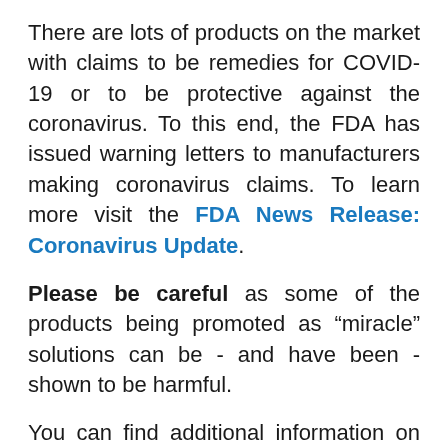There are lots of products on the market with claims to be remedies for COVID-19 or to be protective against the coronavirus. To this end, the FDA has issued warning letters to manufacturers making coronavirus claims. To learn more visit the FDA News Release: Coronavirus Update.
Please be careful as some of the products being promoted as “miracle” solutions can be - and have been - shown to be harmful.
You can find additional information on supplements and IBD management in our Complementary Medicine resource, Vitamin, Minerals and